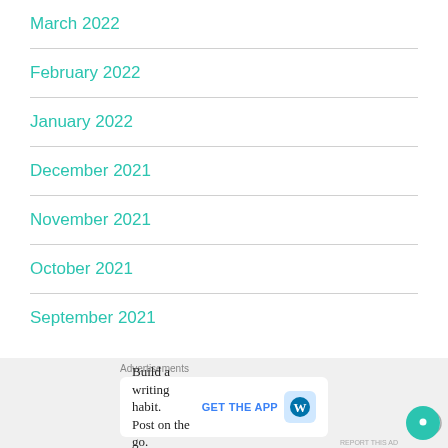March 2022
February 2022
January 2022
December 2021
November 2021
October 2021
September 2021
Advertisements
Build a writing habit. Post on the go.
GET THE APP
REPORT THIS AD